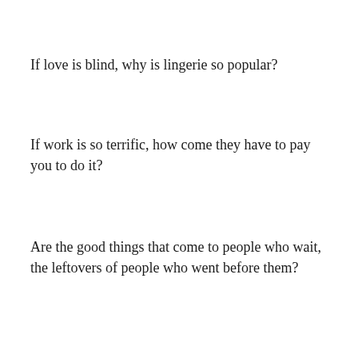If love is blind, why is lingerie so popular?
If work is so terrific, how come they have to pay you to do it?
Are the good things that come to people who wait, the leftovers of people who went before them?